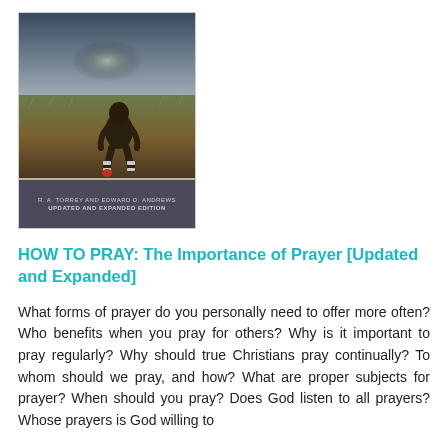[Figure (photo): Book cover for 'HOW TO PRAY: The Importance of Prayer' by R. A. Torrey and Edward D. Andrews, Updated and Expanded Edition. Cover shows a dark atmospheric scene with a child sitting in a field under a dramatic sky. Bottom bar shows author names and edition info.]
HOW TO PRAY: The Importance of Prayer [Updated and Expanded]
What forms of prayer do you personally need to offer more often? Who benefits when you pray for others? Why is it important to pray regularly? Why should true Christians pray continually? To whom should we pray, and how? What are proper subjects for prayer? When should you pray? Does God listen to all prayers? Whose prayers is God willing to